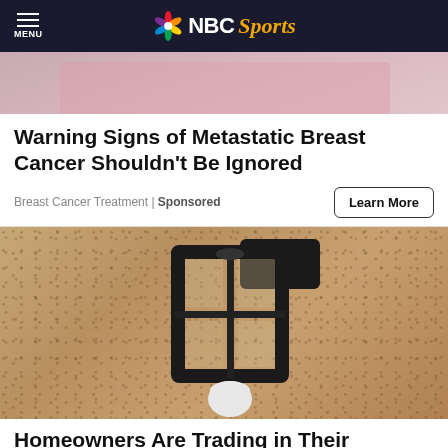MENU | NBC Sports
[Figure (photo): Cropped photo of person in pink shirt, partial torso visible]
Warning Signs of Metastatic Breast Cancer Shouldn't Be Ignored
Breast Cancer Treatment | Sponsored
Learn More
[Figure (photo): Photo of a black metal outdoor lantern/wall light mounted on a textured stucco wall, with a white bulb visible at the bottom]
Homeowners Are Trading in Their Doorbell